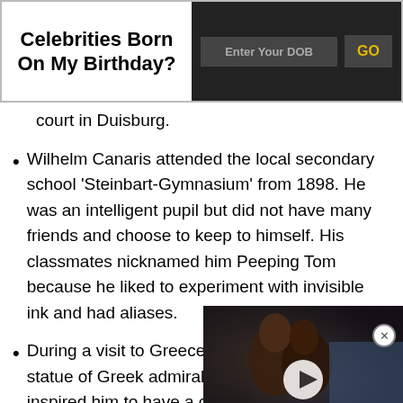Celebrities Born On My Birthday? | Enter Your DOB | GO
court in Duisburg.
Wilhelm Canaris attended the local secondary school 'Steinbart-Gymnasium' from 1898. He was an intelligent pupil but did not have many friends and choose to keep to himself. His classmates nicknamed him Peeping Tom because he liked to experiment with invisible ink and had aliases.
During a visit to Greece in [partially obscured] statue of Greek admiral Co[partially obscured] inspired him to have a care[partially obscured] decided to join the naval ac[partially obscured]
[Figure (screenshot): Video overlay showing two people kissing, with a play button in the center. Partially covers the second list item text.]